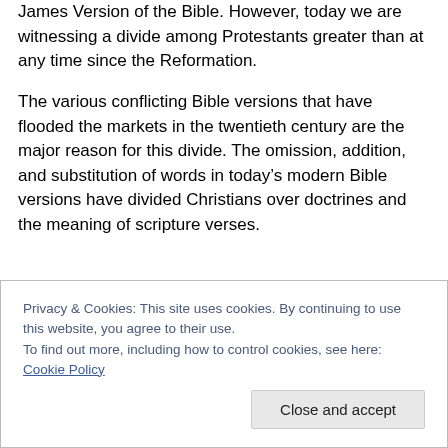James Version of the Bible. However, today we are witnessing a divide among Protestants greater than at any time since the Reformation.
The various conflicting Bible versions that have flooded the markets in the twentieth century are the major reason for this divide. The omission, addition, and substitution of words in today’s modern Bible versions have divided Christians over doctrines and the meaning of scripture verses.
Privacy & Cookies: This site uses cookies. By continuing to use this website, you agree to their use.
To find out more, including how to control cookies, see here: Cookie Policy
Close and accept